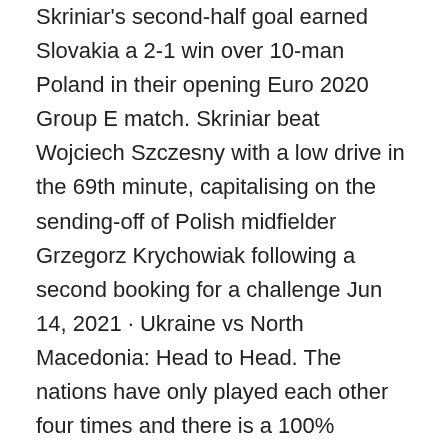Skriniar's second-half goal earned Slovakia a 2-1 win over 10-man Poland in their opening Euro 2020 Group E match. Skriniar beat Wojciech Szczesny with a low drive in the 69th minute, capitalising on the sending-off of Polish midfielder Grzegorz Krychowiak following a second booking for a challenge Jun 14, 2021 · Ukraine vs North Macedonia: Head to Head. The nations have only played each other four times and there is a 100% success rate to see under 2.5 goals. The last time they played was in 2015 when Ukraine won 2-0 in a European Championship qualifier. North Macedonia have recorded one victory over Ukraine in a friendly back in 2004. · Check when and where to watch the Euro 2020 Spain vs Sweden live football match online and on TV. Three-time European champions Spain begin their Euro 2020 campaign against Sweden on Tuesday (IST) in Seville. Luis Enrique's men will look to secure maximum